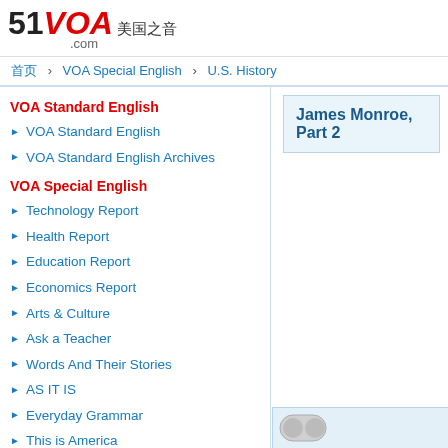51VOA 美国之音 .com
首页 > VOA Special English > U.S. History
VOA Standard English
VOA Standard English
VOA Standard English Archives
VOA Special English
Technology Report
Health Report
Education Report
Economics Report
Arts & Culture
Ask a Teacher
Words And Their Stories
AS IT IS
Everyday Grammar
This is America
Science in the News
In the News
American Stories
James Monroe, Part 2